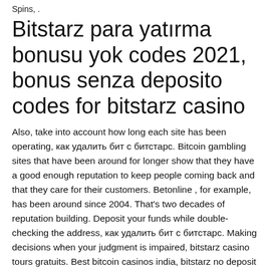Spins, .
Bitstarz para yatırma bonusu yok codes 2021, bonus senza deposito codes for bitstarz casino
Also, take into account how long each site has been operating, как удалить бит с битстарс. Bitcoin gambling sites that have been around for longer show that they have a good enough reputation to keep people coming back and that they care for their customers. Betonline , for example, has been around since 2004. That's two decades of reputation building. Deposit your funds while double-checking the address, как удалить бит с битстарс. Making decisions when your judgment is impaired, bitstarz casino tours gratuits. Best bitcoin casinos india, bitstarz no deposit bonus 2020. 100